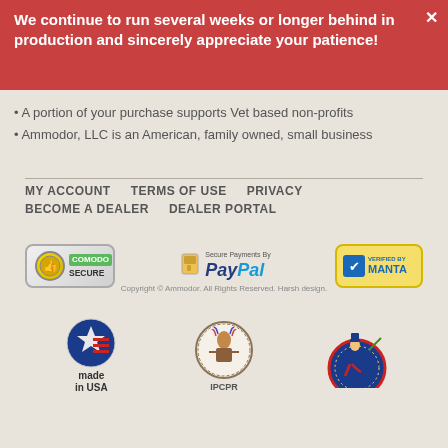We continue to run several weeks or longer behind in production and sincerely appreciate your patience!
A portion of your purchase supports Vet based non-profits
Ammodor, LLC is an American, family owned, small business
MY ACCOUNT   TERMS OF USE   PRIVACY   BECOME A DEALER   DEALER PORTAL
[Figure (logo): Comodo Secure badge, PayPal Secure Payments badge, Verified by Manta badge]
[Figure (logo): Made in USA logo, IPCPR logo, Cigar Rights of America logo]